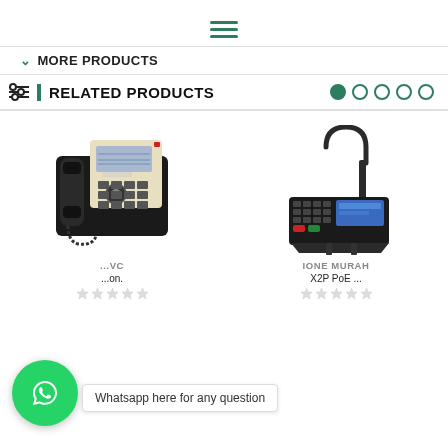[Figure (other): Hamburger menu icon (three horizontal green lines)]
MORE PRODUCTS
RELATED PRODUCTS
[Figure (photo): Yealink desk IP phone (black and beige), front view with handset and keypad]
[Figure (photo): Modern desk phone/console with tall antenna/loop stand, touchscreen and keypad]
...VC ...on.
IONE MURAH X2P PoE ...
[Figure (other): WhatsApp icon button (green circle with phone handset)]
Whatsapp here for any question